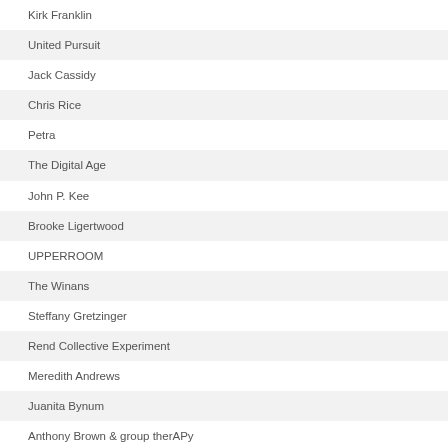Kirk Franklin
United Pursuit
Jack Cassidy
Chris Rice
Petra
The Digital Age
John P. Kee
Brooke Ligertwood
UPPERROOM
The Winans
Steffany Gretzinger
Rend Collective Experiment
Meredith Andrews
Juanita Bynum
Anthony Brown & group therAPy